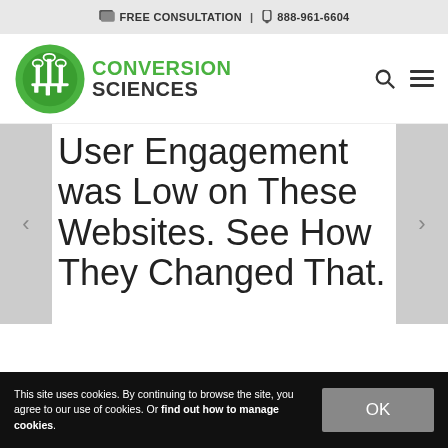FREE CONSULTATION | 888-961-6604
[Figure (logo): Conversion Sciences logo with green circular emblem and green/dark text]
User Engagement was Low on These Websites. See How They Changed That.
This site uses cookies. By continuing to browse the site, you agree to our use of cookies. Or find out how to manage cookies.